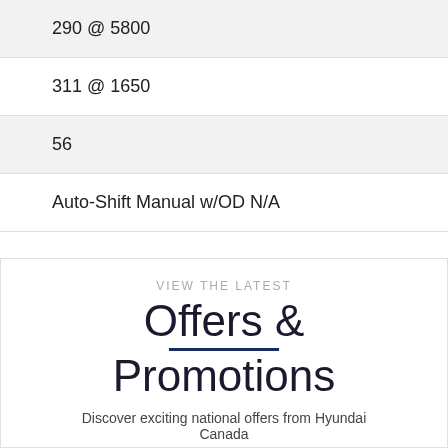| 290 @ 5800 |
| 311 @ 1650 |
| 56 |
| Auto-Shift Manual w/OD N/A |
VIEW THE LATEST
Offers & Promotions
Discover exciting national offers from Hyundai Canada